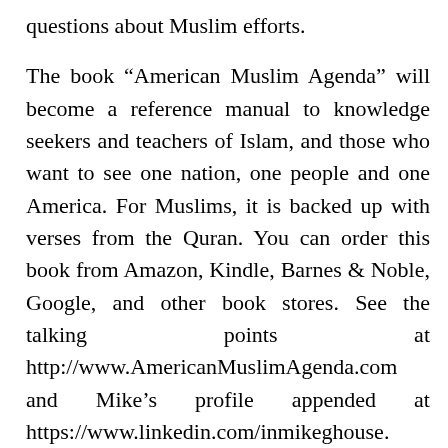questions about Muslim efforts.
The book “American Muslim Agenda” will become a reference manual to knowledge seekers and teachers of Islam, and those who want to see one nation, one people and one America. For Muslims, it is backed up with verses from the Quran. You can order this book from Amazon, Kindle, Barnes & Noble, Google, and other book stores. See the talking points at http://www.AmericanMuslimAgenda.com and Mike’s profile appended at https://www.linkedin.com/inmikeghouse.
Talk Version 2:0
Title of the talk: Muslims making America the Greatest